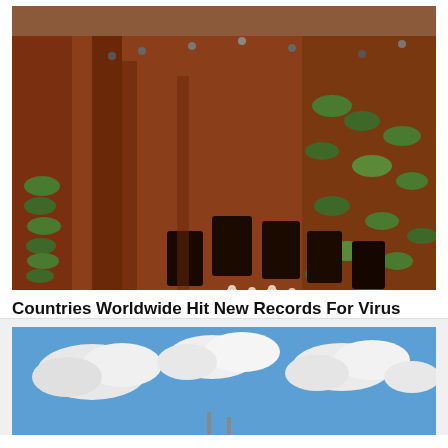[Figure (photo): Aerial view of a cemetery with rows of freshly dug graves in red earth, people in white protective suits carrying a black coffin, green flower arrangements on mounds]
Countries Worldwide Hit New Records For Virus Cases, Deaths
[Figure (photo): Blue sky with white clouds, partial view of what appears to be a structure or antenna visible at bottom]